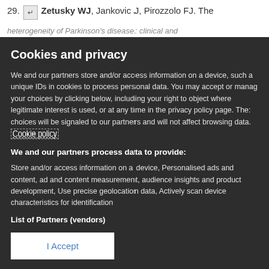29. [return icon] Zetusky WJ, Jankovic J, Pirozzolo FJ. The heterogeneity of Parkinson's disease: clinical and
Cookies and privacy
We and our partners store and/or access information on a device, such as unique IDs in cookies to process personal data. You may accept or manage your choices by clicking below, including your right to object where legitimate interest is used, or at any time in the privacy policy page. These choices will be signaled to our partners and will not affect browsing data. Cookie policy
We and our partners process data to provide:
Store and/or access information on a device, Personalised ads and content, ad and content measurement, audience insights and product development, Use precise geolocation data, Actively scan device characteristics for identification
List of Partners (vendors)
I Accept